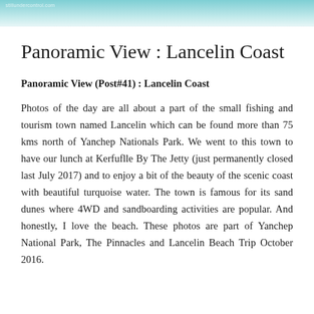[Figure (photo): Aerial or panoramic photo of turquoise coastal water, used as a decorative header banner at the top of the page. A small watermark text is visible at the top left.]
Panoramic View : Lancelin Coast
Panoramic View (Post#41) : Lancelin Coast
Photos of the day are all about a part of the small fishing and tourism town named Lancelin which can be found more than 75 kms north of Yanchep Nationals Park. We went to this town to have our lunch at Kerfuflle By The Jetty (just permanently closed last July 2017) and to enjoy a bit of the beauty of the scenic coast with beautiful turquoise water. The town is famous for its sand dunes where 4WD and sandboarding activities are popular. And honestly, I love the beach. These photos are part of Yanchep National Park, The Pinnacles and Lancelin Beach Trip October 2016.